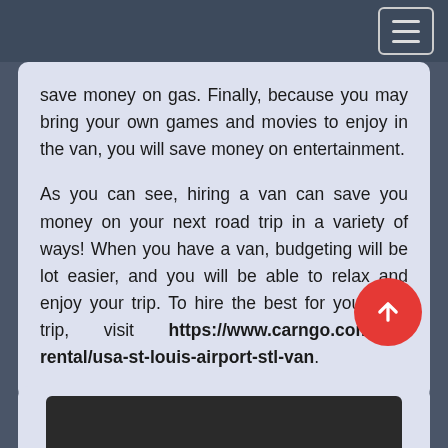[Navigation bar with hamburger menu]
save money on gas. Finally, because you may bring your own games and movies to enjoy in the van, you will save money on entertainment.
As you can see, hiring a van can save you money on your next road trip in a variety of ways! When you have a van, budgeting will be lot easier, and you will be able to relax and enjoy your trip. To hire the best for your next trip, visit https://www.carngo.com/car-rental/usa-st-louis-airport-stl-van.
[Figure (photo): Bottom card area with a dark image thumbnail visible at the bottom of the page]